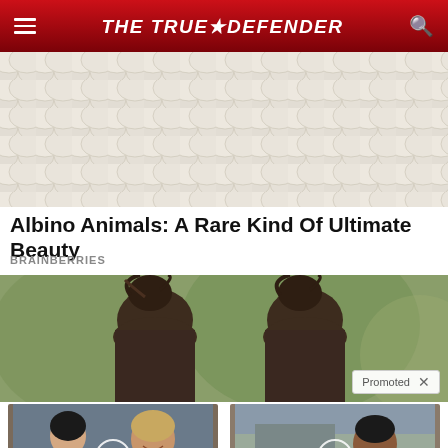THE TRUE DEFENDER
[Figure (photo): Close-up photo of white/albino animal scales or feathers texture]
Albino Animals: A Rare Kind Of Ultimate Beauty
BRAINBERRIES
[Figure (photo): Photo of two people with messy hair buns from behind, with a Promoted badge and X close button]
[Figure (photo): Video thumbnail showing Melania and Donald Trump with play button overlay]
Top Democrats Fear This Video Getting Out — Watch Now Before It's Banned
🔥 289,469
[Figure (photo): Video thumbnail showing Kamala Harris with play button overlay]
Nancy Pelosi Wants This Video Destroyed — Watch Now Before It's Banned
🔥 605,861